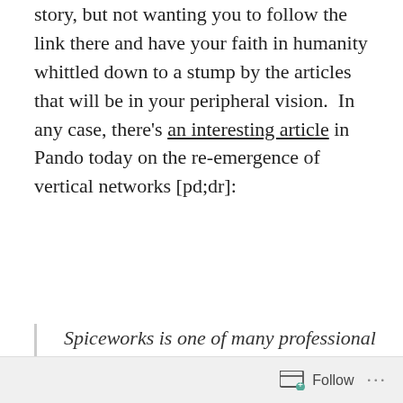story, but not wanting you to follow the link there and have your faith in humanity whittled down to a stump by the articles that will be in your peripheral vision.  In any case, there's an interesting article in Pando today on the re-emergence of vertical networks [pd;dr]:
Spiceworks is one of many professional social networks to spring up in the last decade that seem to be doing remarkably well. There's also GitHub for
Follow ···